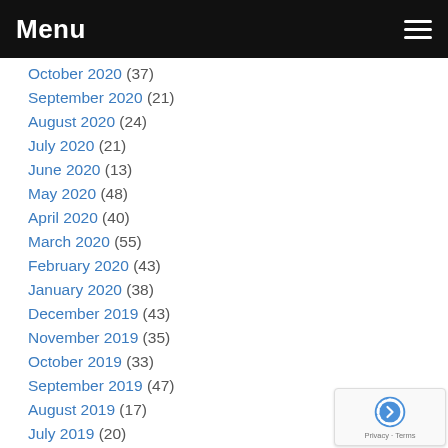Menu
October 2020 (37)
September 2020 (21)
August 2020 (24)
July 2020 (21)
June 2020 (13)
May 2020 (48)
April 2020 (40)
March 2020 (55)
February 2020 (43)
January 2020 (38)
December 2019 (43)
November 2019 (35)
October 2019 (33)
September 2019 (47)
August 2019 (17)
July 2019 (20)
June 2019 (18)
May 2019 (34)